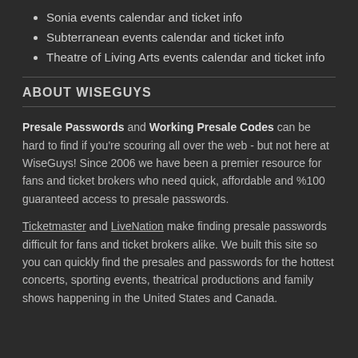Sonia events calendar and ticket info
Subterranean events calendar and ticket info
Theatre of Living Arts events calendar and ticket info
ABOUT WISEGUYS
Presale Passwords and Working Presale Codes can be hard to find if you're scouring all over the web - but not here at WiseGuys! Since 2006 we have been a premier resource for fans and ticket brokers who need quick, affordable and %100 guaranteed access to presale passwords.
Ticketmaster and LiveNation make finding presale passwords difficult for fans and ticket brokers alike. We built this site so you can quickly find the presales and passwords for the hottest concerts, sporting events, theatrical productions and family shows happening in the United States and Canada.